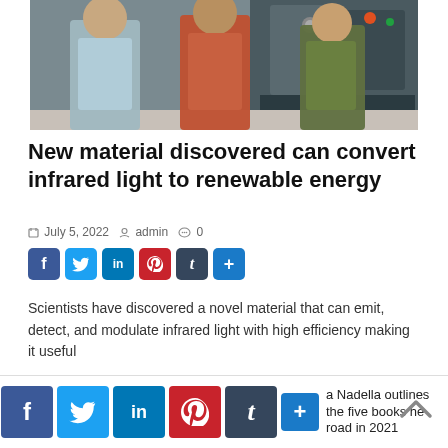[Figure (photo): Three researchers (two men and one woman) standing in front of laboratory equipment including large scientific instruments.]
New material discovered can convert infrared light to renewable energy
July 5, 2022  admin  0
[Figure (infographic): Social media share buttons: Facebook (blue), Twitter (blue), LinkedIn (blue), Pinterest (red), Tumblr (dark), and More (+) button (blue)]
Scientists have discovered a novel material that can emit, detect, and modulate infrared light with high efficiency making it useful
[Figure (infographic): Bottom social share bar with large Facebook, Twitter, LinkedIn, Pinterest, Tumblr buttons and a more (+) button, alongside a preview of another article about Satya Nadella and the five books he read in 2021. A scroll-to-top chevron button is visible.]